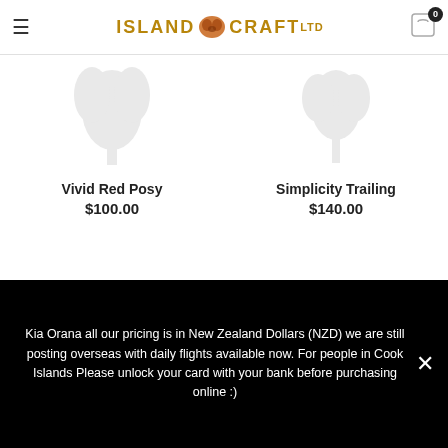ISLAND CRAFT LTD
[Figure (illustration): Faded watermark-style illustration of floral arrangement for Vivid Red Posy product]
Vivid Red Posy
$100.00
[Figure (illustration): Faded watermark-style illustration of floral arrangement for Simplicity Trailing product]
Simplicity Trailing
$140.00
Kia Orana all our pricing is in New Zealand Dollars (NZD) we are still posting overseas with daily flights available now. For people in Cook Islands Please unlock your card with your bank before purchasing online :)